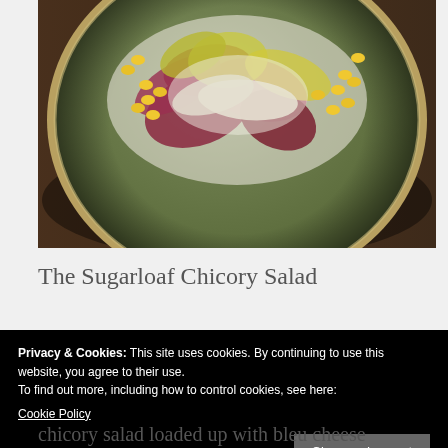[Figure (photo): A plate of Sugarloaf Chicory Salad on a dark green/olive ceramic plate with gold rim, containing radicchio, yellow chicory leaves, corn kernels, and white dressing. The plate sits on a dark wood surface.]
The Sugarloaf Chicory Salad
Privacy & Cookies: This site uses cookies. By continuing to use this website, you agree to their use.
To find out more, including how to control cookies, see here:
Cookie Policy
chicory salad loaded up with bleu cheese